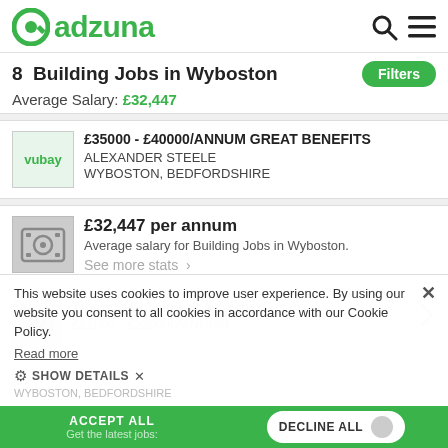[Figure (logo): Adzuna logo with green circular icon and green text]
8 Building Jobs in Wyboston
Average Salary: £32,447
£35000 - £40000/ANNUM GREAT BENEFITS
ALEXANDER STEELE
WYBOSTON, BEDFORDSHIRE
£32,447 per annum
Average salary for Building Jobs in Wyboston.
See more stats ›
Training Enrolment Advisor
£21000 - £220000/ANNUM
WYBOSTON, BEDFORDSHIRE
This website uses cookies to improve user experience. By using our website you consent to all cookies in accordance with our Cookie Policy.
Read more
SHOW DETAILS
ACCEPT ALL
DECLINE ALL